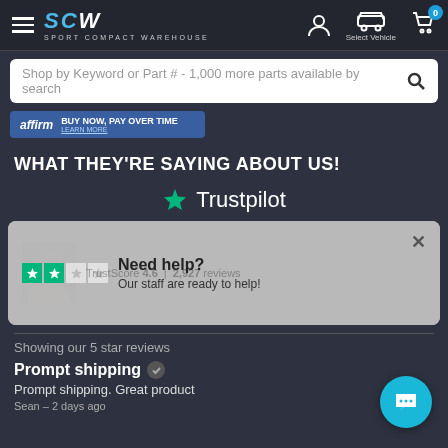SCW Sport Compact Warehouse - Navigation header with search
Shop by Keyword or Part # - 1,000 more parts available by search
[Figure (screenshot): Affirm Buy now, pay over time banner]
WHAT THEY'RE SAYING ABOUT US!
[Figure (logo): Trustpilot logo with green star]
[Figure (screenshot): Trustpilot TrustScore 4.6 | 2,927 reviews widget with Need help? popup overlay showing staff ready to help]
Showing our 5 star reviews
Prompt shipping
Prompt shipping. Great product
Sean - 2 days ago